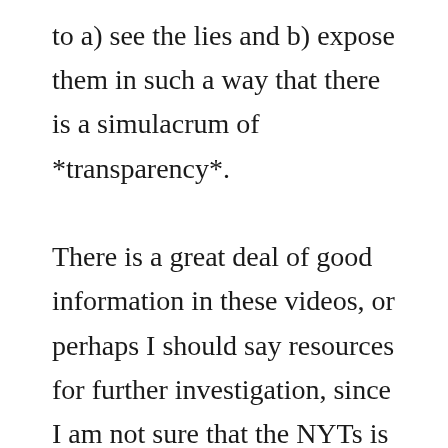to a) see the lies and b) expose them in such a way that there is a simulacrum of *transparency*.

There is a great deal of good information in these videos, or perhaps I should say resources for further investigation, since I am not sure that the NYTs is a *pure* source for exposing the profound and deep LIES that lie all and here we see